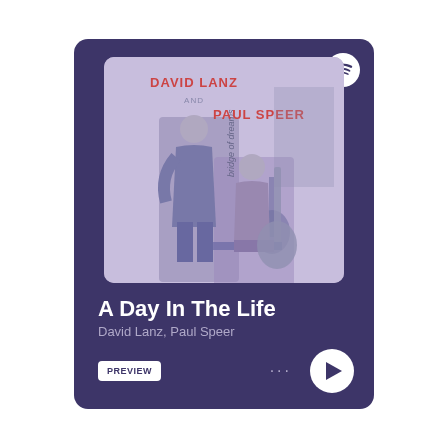[Figure (screenshot): Spotify music player card showing album art for 'Bridge of Dreams' by David Lanz and Paul Speer, with song title 'A Day In The Life', artist names, preview button, options dots, and play button on a dark purple background.]
A Day In The Life
David Lanz, Paul Speer
PREVIEW